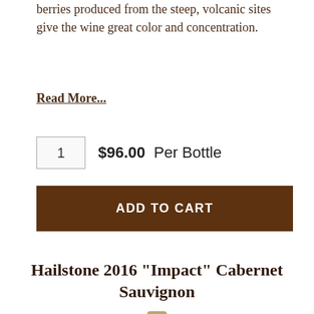berries produced from the steep, volcanic sites give the wine great color and concentration.
Read More...
1  $96.00  Per Bottle
ADD TO CART
Hailstone 2016 "Impact" Cabernet Sauvignon
[Figure (photo): Partial view of a dark wine bottle with a gold/silver foil capsule top and black label, shown from the top of the bottle downward, cut off at the bottom of the page.]